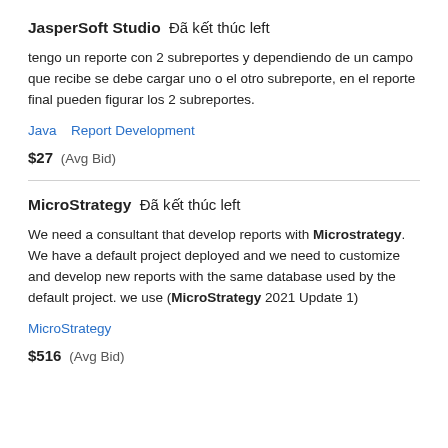JasperSoft Studio  Đã kết thúc left
tengo un reporte con 2 subreportes y dependiendo de un campo que recibe se debe cargar uno o el otro subreporte, en el reporte final pueden figurar los 2 subreportes.
Java   Report Development
$27  (Avg Bid)
MicroStrategy  Đã kết thúc left
We need a consultant that develop reports with Microstrategy. We have a default project deployed and we need to customize and develop new reports with the same database used by the default project. we use (MicroStrategy 2021 Update 1)
MicroStrategy
$516  (Avg Bid)